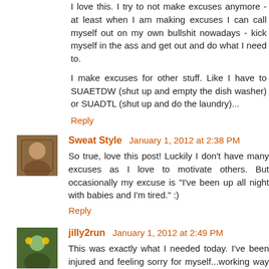I love this. I try to not make excuses anymore - at least when I am making excuses I can call myself out on my own bullshit nowadays - kick myself in the ass and get out and do what I need to.
I make excuses for other stuff. Like I have to SUAETDW (shut up and empty the dish washer) or SUADTL (shut up and do the laundry)...
Reply
[Figure (photo): Avatar image of Sweat Style commenter]
Sweat Style  January 1, 2012 at 2:38 PM
So true, love this post! Luckily I don't have many excuses as I love to motivate others. But occasionally my excuse is "I've been up all night with babies and I'm tired." :)
Reply
[Figure (photo): Avatar image of jilly2run commenter]
jilly2run  January 1, 2012 at 2:49 PM
This was exactly what I needed today. I've been injured and feeling sorry for myself...working way too many hours and